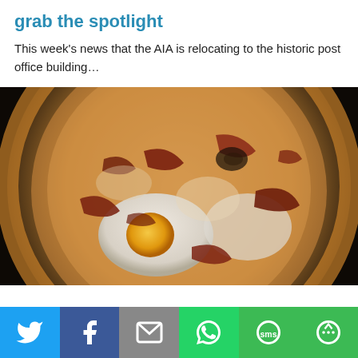grab the spotlight
This week's news that the AIA is relocating to the historic post office building…
[Figure (photo): Close-up photo of a pizza with eggs, bacon, and toppings]
[Figure (infographic): Social share bar with Twitter, Facebook, Email, WhatsApp, SMS, and More buttons]